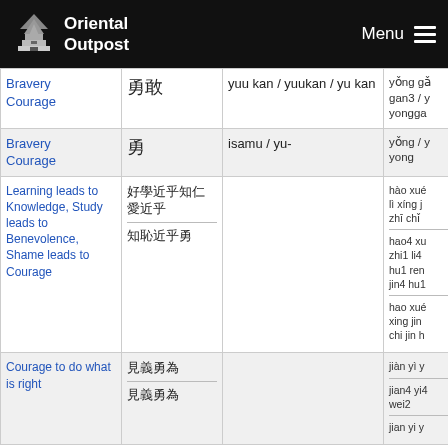Oriental Outpost | Menu
| English | Characters | Romanization | Chinese Pinyin |
| --- | --- | --- | --- |
| Bravery Courage | 勇敢 | yuu kan / yuukan / yu kan | yǒng gǎ gan3 / y yongga |
| Bravery Courage | 勇 | isamu / yu- | yǒng / y yong |
| Learning leads to Knowledge, Study leads to Benevolence, Shame leads to Courage | 好學近乎知仁愛近乎 / 知恥近乎勇 |  | hào xué lì xíng j zhī chǐ / hao4 xu zhi1 li4 hu1 ren jin4 hu1 / hao xué xing jin chi jin h |
| Courage to do what is right | 見義勇為 / 見義勇為 |  | jiàn yì y / jian4 yi4 wei2 / jian yi y |